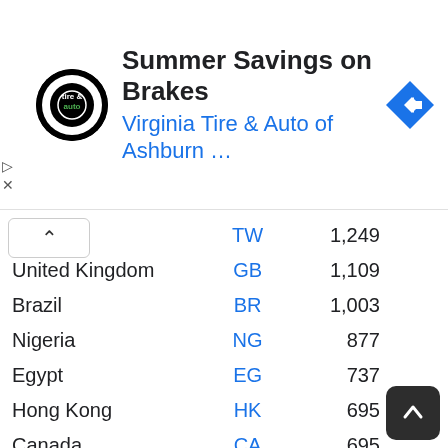[Figure (screenshot): Advertisement banner for Virginia Tire & Auto of Ashburn with logo, title 'Summer Savings on Brakes', subtitle 'Virginia Tire & Auto of Ashburn ...', and a blue navigation arrow icon]
| Country | Code | Value |
| --- | --- | --- |
|  | TW | 1,249 |
| United Kingdom | GB | 1,109 |
| Brazil | BR | 1,003 |
| Nigeria | NG | 877 |
| Egypt | EG | 737 |
| Hong Kong | HK | 695 |
| Canada | CA | 695 |
| Australia | AU | 606 |
| Philippines | PH | 434 |
| India | IN | 422 |
| Malaysia | MY | 415 |